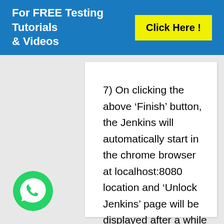For FREE Testing Tutorials & Videos   Click Here !
7) On clicking the above ‘Finish’ button, the Jenkins will automatically start in the chrome browser at localhost:8080 location and ‘Unlock Jenkins’ page will be displayed after a while as shown below:
[Figure (logo): WhatsApp logo green circle with phone icon]